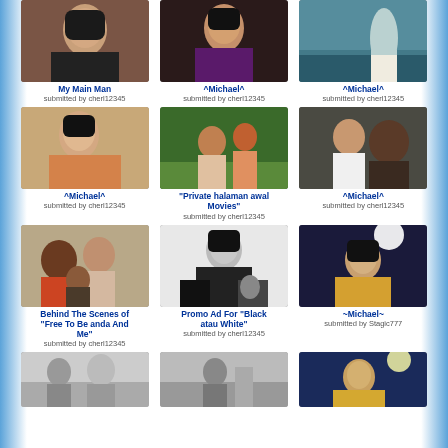[Figure (photo): Photo of Michael Jackson seated]
My Main Man
submitted by cherl12345
[Figure (photo): Photo of Michael Jackson]
^Michael^
submitted by cherl12345
[Figure (photo): Photo of person in white dress near water]
^Michael^
submitted by cherl12345
[Figure (photo): Photo of Michael Jackson casual]
^Michael^
submitted by cherl12345
[Figure (photo): Photo of people outdoors with ball]
"Private halaman awal Movies"
submitted by cherl12345
[Figure (photo): Photo of Michael Jackson with others]
^Michael^
submitted by cherl12345
[Figure (photo): Behind the scenes group photo]
Behind The Scenes of "Free To Be anda And Me"
submitted by cherl12345
[Figure (photo): Black and white promo photo of Michael Jackson with panther]
Promo Ad For "Black atau White"
submitted by cherl12345
[Figure (photo): Michael Jackson performing on stage in gold costume]
~Michael~
submitted by Stagic777
[Figure (photo): Black and white outdoor photo]
[Figure (photo): Black and white indoor photo]
[Figure (photo): Michael Jackson performing on stage]